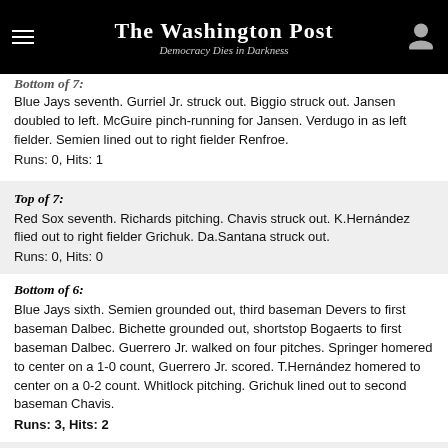The Washington Post — Democracy Dies in Darkness
Bottom of 7:
Blue Jays seventh. Gurriel Jr. struck out. Biggio struck out. Jansen doubled to left. McGuire pinch-running for Jansen. Verdugo in as left fielder. Semien lined out to right fielder Renfroe.
Runs: 0, Hits: 1
Top of 7:
Red Sox seventh. Richards pitching. Chavis struck out. K.Hernández flied out to right fielder Grichuk. Da.Santana struck out.
Runs: 0, Hits: 0
Bottom of 6:
Blue Jays sixth. Semien grounded out, third baseman Devers to first baseman Dalbec. Bichette grounded out, shortstop Bogaerts to first baseman Dalbec. Guerrero Jr. walked on four pitches. Springer homered to center on a 1-0 count, Guerrero Jr. scored. T.Hernández homered to center on a 0-2 count. Whitlock pitching. Grichuk lined out to second baseman Chavis.
Runs: 3, Hits: 2
Top of 6:
Red Sox sixth. Cimber pitching. Devers popped out to shortstop Bichette.